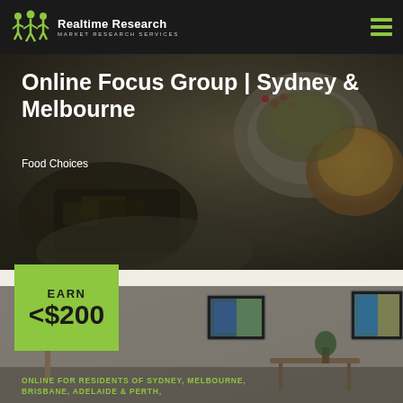[Figure (logo): Realtime Research logo with green stick figure icon and text 'Realtime Research MARKET RESEARCH SERVICES' on dark navbar]
Realtime Research MARKET RESEARCH SERVICES
[Figure (photo): Background food photo showing various dishes including stuffed leaves and bread rolls on plates, dimly lit]
Online Focus Group | Sydney & Melbourne
Food Choices
[Figure (photo): Background photo of a modern living room interior with framed artwork on walls]
EARN
<$200
ONLINE FOR RESIDENTS OF SYDNEY, MELBOURNE, BRISBANE, ADELAIDE & PERTH,